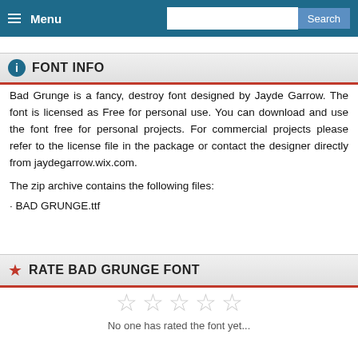Menu | Search
FONT INFO
Bad Grunge is a fancy, destroy font designed by Jayde Garrow. The font is licensed as Free for personal use. You can download and use the font free for personal projects. For commercial projects please refer to the license file in the package or contact the designer directly from jaydegarrow.wix.com.
The zip archive contains the following files:
· BAD GRUNGE.ttf
RATE BAD GRUNGE FONT
No one has rated the font yet...